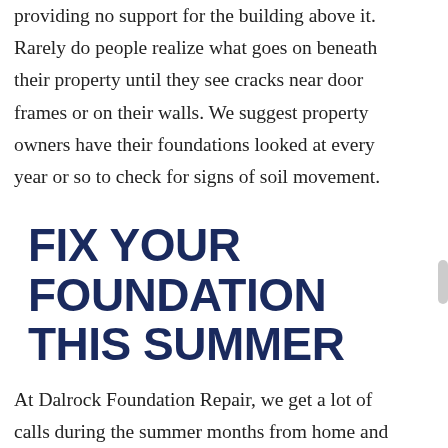providing no support for the building above it. Rarely do people realize what goes on beneath their property until they see cracks near door frames or on their walls. We suggest property owners have their foundations looked at every year or so to check for signs of soil movement.
FIX YOUR FOUNDATION THIS SUMMER
At Dalrock Foundation Repair, we get a lot of calls during the summer months from home and business owners worried about their sagging foundations. If you're concerned that your building has foundation cracks or other foundation problems, then give us a call! We